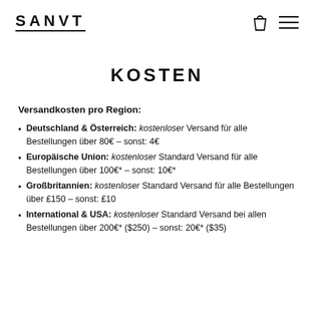SANVT
KOSTEN
Versandkosten pro Region:
Deutschland & Österreich: kostenloser Versand für alle Bestellungen über 80€ – sonst: 4€
Europäische Union: kostenloser Standard Versand für alle Bestellungen über 100€* – sonst: 10€*
Großbritannien: kostenloser Standard Versand für alle Bestellungen über £150 – sonst: £10
International & USA: kostenloser Standard Versand bei allen Bestellungen über 200€* ($250) – sonst: 20€* ($35)